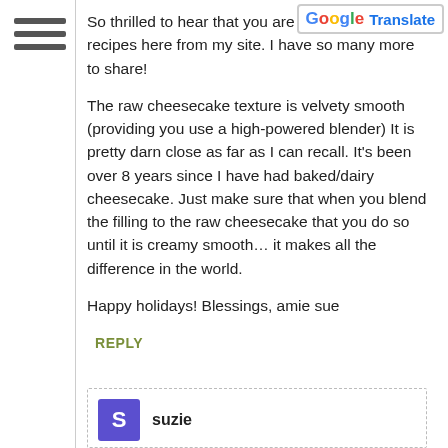[Figure (other): Hamburger menu icon (three horizontal lines) in left sidebar]
[Figure (other): Google Translate button with G logo in top right corner]
So thrilled to hear that you are enjoying many recipes here from my site. I have so many more to share!
The raw cheesecake texture is velvety smooth (providing you use a high-powered blender) It is pretty darn close as far as I can recall. It’s been over 8 years since I have had baked/dairy cheesecake. Just make sure that when you blend the filling to the raw cheesecake that you do so until it is creamy smooth… it makes all the difference in the world.
Happy holidays! Blessings, amie sue
REPLY
suzie